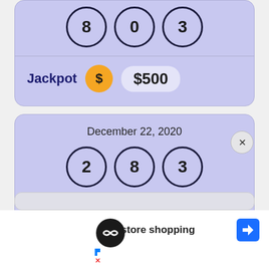[Figure (other): Lottery draw card (partial top) showing three numbered balls: 8, 0, 3 with Jackpot $500]
Jackpot $500
[Figure (other): Lottery draw card for December 22, 2020 showing three numbered balls: 2, 8, 3]
December 22, 2020
Jackpot $500 (partial)
[Figure (other): Ad overlay: In-store shopping with navigation arrow icon]
In-store shopping